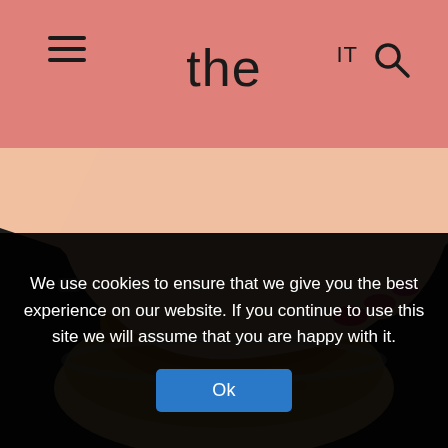the eat culture
[Figure (photo): Hand with red nail polish and a ring holding a basket of artisan bread rolls with black seeds on a dark background]
We use cookies to ensure that we give you the best experience on our website. If you continue to use this site we will assume that you are happy with it.
Ok